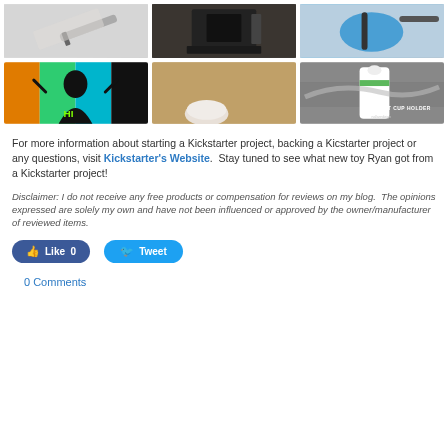[Figure (photo): Top row of three photos: a pen/stylus held in a hand, a black electronic device/camera setup, a blue rounded object with headphone cord]
[Figure (photo): Bottom row of three photos: silhouette of person with colorful orange/green/teal/dark background and text HI on back, wooden floor with white round object, Inflight Cup Holder product advertisement with airplane and coffee cup]
For more information about starting a Kickstarter project, backing a Kicstarter project or any questions, visit Kickstarter's Website.  Stay tuned to see what new toy Ryan got from a Kickstarter project!
Disclaimer: I do not receive any free products or compensation for reviews on my blog.  The opinions expressed are solely my own and have not been influenced or approved by the owner/manufacturer of reviewed items.
Like 0   Tweet
0 Comments